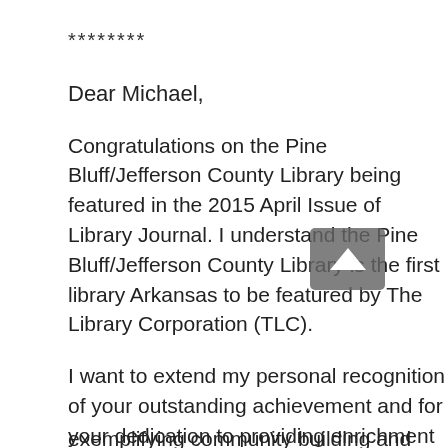********
Dear Michael,
Congratulations on the Pine Bluff/Jefferson County Library being featured in the 2015 April Issue of Library Journal. I understand the Pine Bluff/Jefferson County Library is the first library Arkansas to be featured by The Library Corporation (TLC).
I want to extend my personal recognition of your outstanding achievement and for your dedication to providing enrichment opportunities to Pine Bluff and Jefferson County residents. Take pride in this great accomplishment and for becoming a national representation of the library community, exemplifying community building and partnership...